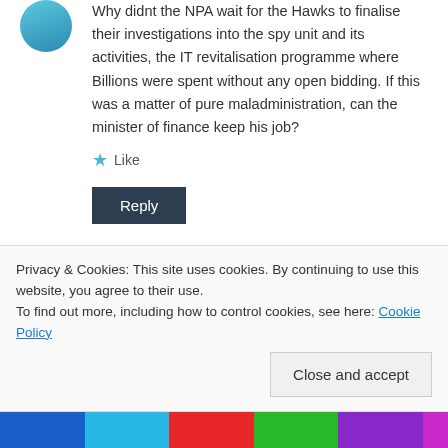Why didnt the NPA wait for the Hawks to finalise their investigations into the spy unit and its activities, the IT revitalisation programme where Billions were spent without any open bidding. If this was a matter of pure maladministration, can the minister of finance keep his job?
Like
Reply
Lele Nkutha
November 1, 2016 at 11:13 am
Privacy & Cookies: This site uses cookies. By continuing to use this website, you agree to their use.
To find out more, including how to control cookies, see here: Cookie Policy
Close and accept